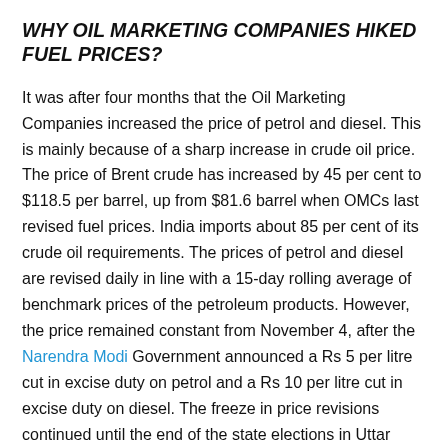WHY OIL MARKETING COMPANIES HIKED FUEL PRICES?
It was after four months that the Oil Marketing Companies increased the price of petrol and diesel. This is mainly because of a sharp increase in crude oil price. The price of Brent crude has increased by 45 per cent to $118.5 per barrel, up from $81.6 barrel when OMCs last revised fuel prices. India imports about 85 per cent of its crude oil requirements. The prices of petrol and diesel are revised daily in line with a 15-day rolling average of benchmark prices of the petroleum products. However, the price remained constant from November 4, after the Narendra Modi Government announced a Rs 5 per litre cut in excise duty on petrol and a Rs 10 per litre cut in excise duty on diesel. The freeze in price revisions continued until the end of the state elections in Uttar Pradesh, Punjab, Uttarakhand, Goa and Manipur earlier this month.
HOW MUCH FUEL PRICES EXPECTED TO RISE?